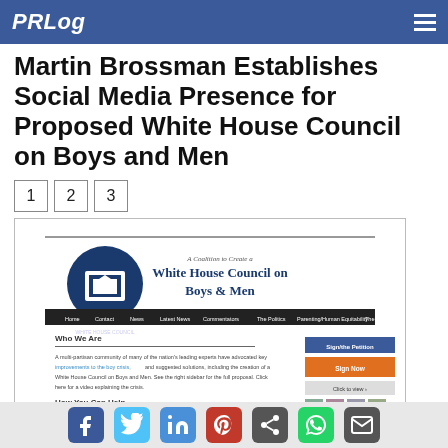PRLog
Martin Brossman Establishes Social Media Presence for Proposed White House Council on Boys and Men
[Figure (screenshot): Screenshot of the White House Council on Boys and Men website showing the coalition homepage with navigation bar, 'Who We Are' section, and sign-up sidebar]
White House Council on Boys and Men website
RALEIGH, N.C. - Sept. 6, 2015 - PRLog -- Since 2010, social media trainer and consultant Martin Brossman has been building the foundation of the social media marketing campaign for the proposed White House Council on Boys and Men, intending to
Social media share icons: Facebook, Twitter, LinkedIn, Pinterest, Share, WhatsApp, Email